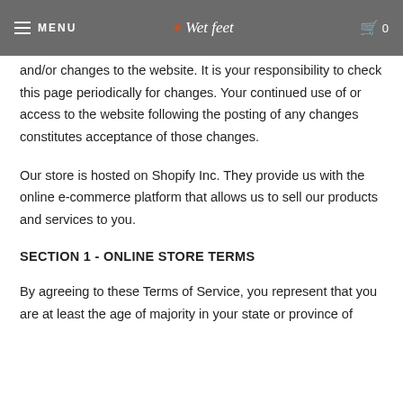MENU | Wet feet | 0
and/or changes to the website. It is your responsibility to check this page periodically for changes. Your continued use of or access to the website following the posting of any changes constitutes acceptance of those changes.
Our store is hosted on Shopify Inc. They provide us with the online e-commerce platform that allows us to sell our products and services to you.
SECTION 1 - ONLINE STORE TERMS
By agreeing to these Terms of Service, you represent that you are at least the age of majority in your state or province of